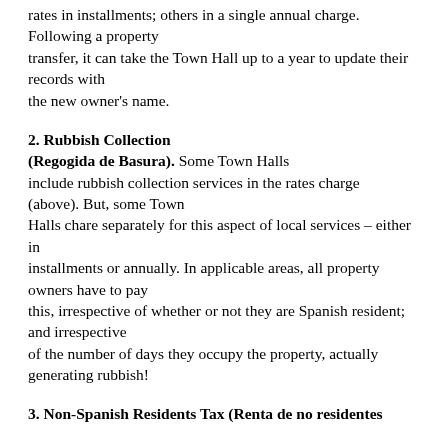rates in installments; others in a single annual charge. Following a property transfer, it can take the Town Hall up to a year to update their records with the new owner's name.
2. Rubbish Collection (Regogida de Basura).
Some Town Halls include rubbish collection services in the rates charge (above). But, some Town Halls chare separately for this aspect of local services – either in installments or annually. In applicable areas, all property owners have to pay this, irrespective of whether or not they are Spanish resident; and irrespective of the number of days they occupy the property, actually generating rubbish!
3. Non-Spanish Residents Tax (Renta de no residentes